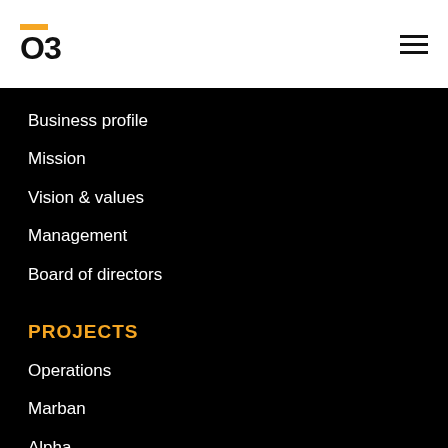O3 logo with hamburger menu
Business profile
Mission
Vision & values
Management
Board of directors
PROJECTS
Operations
Marban
Alpha
Other properties
Key materials